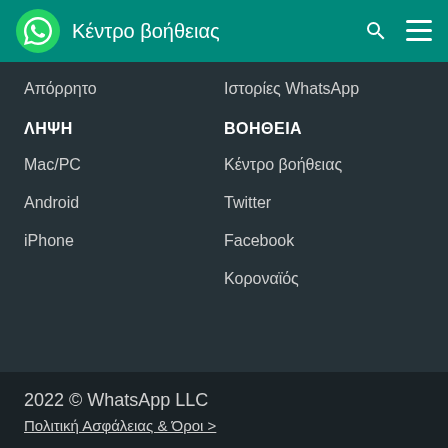Κέντρο βοήθειας
Απόρρητο
Ιστορίες WhatsApp
ΛΗΨΗ
Mac/PC
Android
iPhone
ΒΟΗΘΕΙΑ
Κέντρο βοήθειας
Twitter
Facebook
Κοροναïός
2022 © WhatsApp LLC
Πολιτική Ασφάλειας & Όροι >